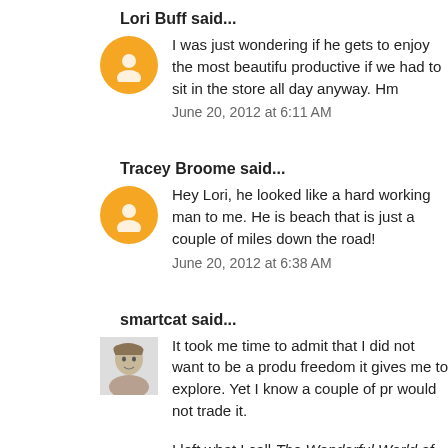Lori Buff said...
I was just wondering if he gets to enjoy the most beautifu productive if we had to sit in the store all day anyway. Hm
June 20, 2012 at 6:11 AM
Tracey Broome said...
Hey Lori, he looked like a hard working man to me. He is beach that is just a couple of miles down the road!
June 20, 2012 at 6:38 AM
smartcat said...
It took me time to admit that I did not want to be a produ freedom it gives me to explore. Yet I know a couple of pr would not trade it.
I left what I call The Wonderful World of Retailing so I wo good thing that there is room for all kinds in this world of
June 20, 2012 at 7:17 AM